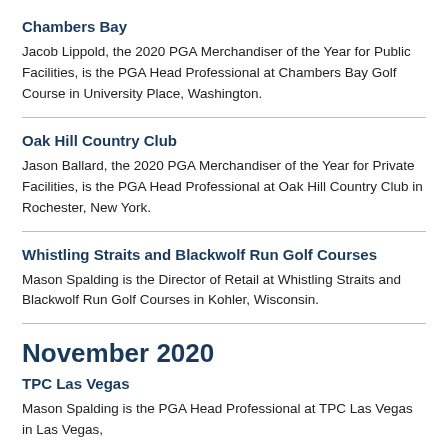Chambers Bay
Jacob Lippold, the 2020 PGA Merchandiser of the Year for Public Facilities, is the PGA Head Professional at Chambers Bay Golf Course in University Place, Washington.
Oak Hill Country Club
Jason Ballard, the 2020 PGA Merchandiser of the Year for Private Facilities, is the PGA Head Professional at Oak Hill Country Club in Rochester, New York.
Whistling Straits and Blackwolf Run Golf Courses
Mason Spalding is the Director of Retail at Whistling Straits and Blackwolf Run Golf Courses in Kohler, Wisconsin.
November 2020
TPC Las Vegas
Mason Spalding is the PGA Head Professional at TPC Las Vegas in Las Vegas,